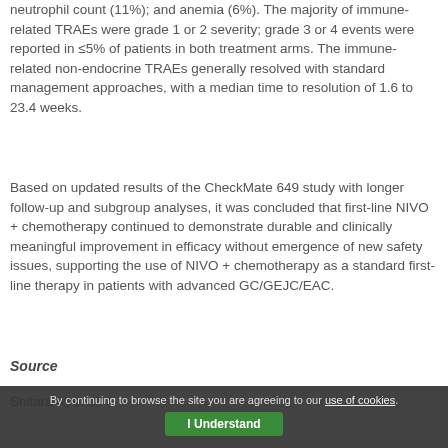neutrophil count (11%); and anemia (6%). The majority of immune-related TRAEs were grade 1 or 2 severity; grade 3 or 4 events were reported in ≤5% of patients in both treatment arms. The immune-related non-endocrine TRAEs generally resolved with standard management approaches, with a median time to resolution of 1.6 to 23.4 weeks.
Based on updated results of the CheckMate 649 study with longer follow-up and subgroup analyses, it was concluded that first-line NIVO + chemotherapy continued to demonstrate durable and clinically meaningful improvement in efficacy without emergence of new safety issues, supporting the use of NIVO + chemotherapy as a standard first-line therapy in patients with advanced GC/GEJC/EAC.
Source
Shitara K, et al. (partial)
By continuing to browse the site you are agreeing to our use of cookies.